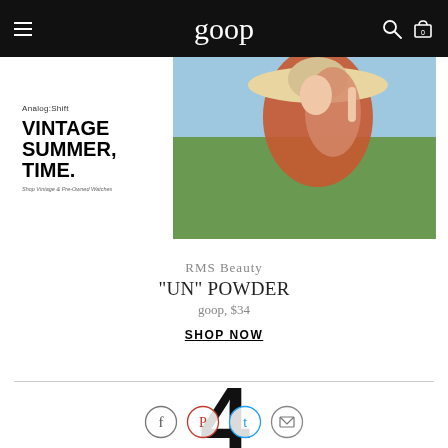goop
[Figure (photo): Analog:Shift advertisement banner showing bold text 'VINTAGE SUMMER, TIME.' on left with a woman in a wide-brim hat and rust-colored top on the right against a summer outdoor background.]
RMS Beauty
“UN” POWDER
goop, $34
SHOP NOW
[Figure (infographic): Social sharing icons: Facebook (gray circle), Pinterest (red circle), Twitter (blue circle), Email (gray circle), overlaid on a large bold numeral 4.]